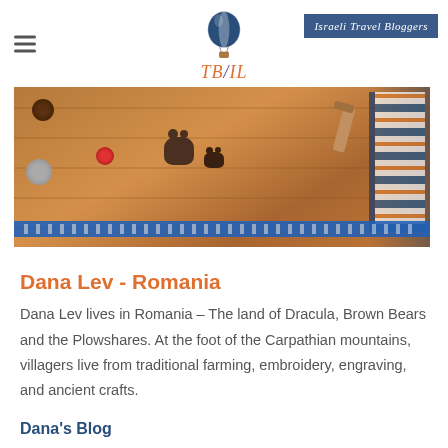TB/IL — Israeli Travel Bloggers
[Figure (photo): A wooden table surface with traditional Romanian craft items: a blue decorated cylindrical object, a pinecone, felt balls, small bear figurines, red apple, woven blue belt/strap, and textile folk crafts]
Dana Lev - Romania
Dana Lev lives in Romania – The land of Dracula, Brown Bears and the Plowshares. At the foot of the Carpathian mountains, villagers live from traditional farming, embroidery, engraving, and ancient crafts.
Dana's Blog